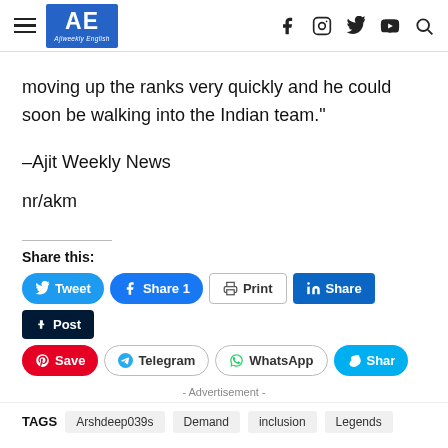AE Ajiweekly English — header with social icons
moving up the ranks very quickly and he could soon be walking into the Indian team.”
–Ajit Weekly News
nr/akm
Share this:
Tweet | Share 1 | Print | Share | Post | Save | Telegram | WhatsApp | Shar
- Advertisement -
TAGS: Arshdeep039s | Demand | inclusion | Legends